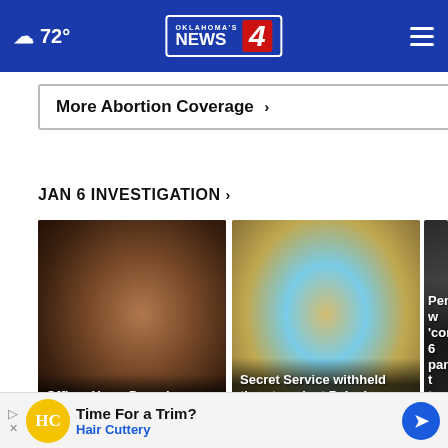72° Oklahoma's News 4
More Abortion Coverage ›
JAN 6 INVESTIGATION ›
[Figure (photo): Close-up photo of Officer Harry Dunn, a Black man, with serious expression]
Officer Harry Dunn is ever-present at Jan. 6 hearings
[Figure (photo): United States Secret Service badge, gold colored with blue shield]
Secret Service withheld threat against Pelosi: report
[Figure (photo): Partial photo of Mike Pence speaking]
Pence w 'conside 6 panel t to testif
[Figure (advertisement): Hair Cuttery advertisement: Time For a Trim? Hair Cuttery]